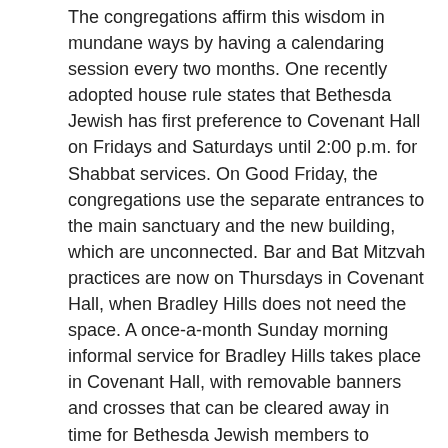The congregations affirm this wisdom in mundane ways by having a calen-daring session every two months. One recently adopted house rule states that Bethesda Jewish has first preference to Covenant Hall on Fridays and Saturdays until 2:00 p.m. for Shabbat services. On Good Friday, the congregations use the separate entrances to the main sanctuary and the new building, which are unconnected. Bar and Bat Mitzvah practices are now on Thursdays in Covenant Hall, when Bradley Hills does not need the space. A once-a-month Sunday morning informal service for Bradley Hills takes place in Covenant Hall, with removable banners and crosses that can be cleared away in time for Bethesda Jewish members to occupy the hall in the afternoon.
Leading, Not Compromising
Besides struggles within the congregations, there have been painful experiences with those on the outside: with an Orthodox rabbi, for example, who, at the last minute, came and gave his concerns at the